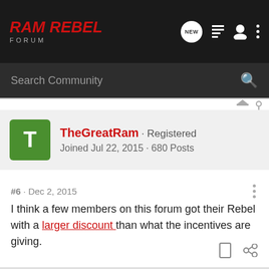Ram Rebel Forum
Search Community
TheGreatRam · Registered
Joined Jul 22, 2015 · 680 Posts
#6 · Dec 2, 2015
I think a few members on this forum got their Rebel with a larger discount than what the incentives are giving.